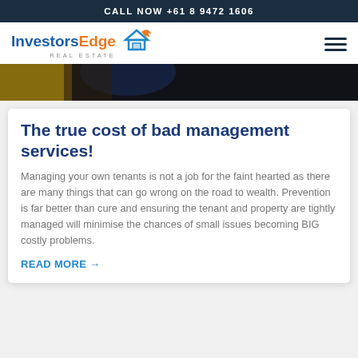CALL NOW +61 8 9472 1606
[Figure (logo): InvestorsEdge Real Estate logo with house and arrow icon]
[Figure (photo): Dark hero banner image showing partial face/person with dark background]
The true cost of bad management services!
Managing your own tenants is not a job for the faint hearted as there are many things that can go wrong on the road to wealth. Prevention is far better than cure and ensuring the tenant and property are tightly managed will minimise the chances of small issues becoming BIG costly problems.
READ MORE →